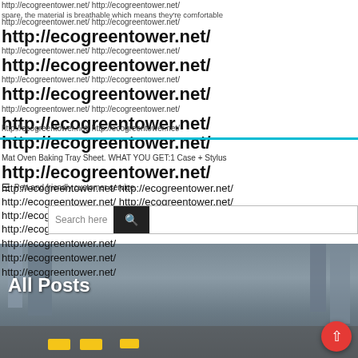http://ecogreentower.net/ http://ecogreentower.net/ spare, the material is breathable which means they're comfortable
http://ecogreentower.net/ http://ecogreentower.net/ http://ecogreentower.net/ http://ecogreentower.net/ http://ecogreentower.net/ http://ecogreentower.net/ http://ecogreentower.net/ http://ecogreentower.net/ http://ecogreentower.net/ http://ecogreentower.net/ http://ecogreentower.net/
Mat Oven Baking Tray Sheet. WHAT YOU GET:1 Case + Stylus Pen and friendly customer service.
http://ecogreentower.net/ http://ecogreentower.net/ http://ecogreentower.net/ http://ecogreentower.net/ http://ecogreentower.net/ http://ecogreentower.net/ http://ecogreentower.net/
[Figure (screenshot): Search bar with placeholder text 'Search here' and a dark search button with magnifying glass icon]
[Figure (photo): Street scene with city traffic, yellow taxis, tall buildings, and 'All Posts' text overlay. Red scroll-to-top button visible at bottom right.]